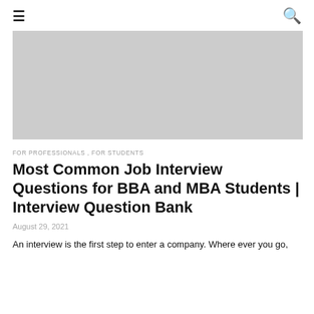≡  🔍
[Figure (photo): Large rectangular gray placeholder image for a hero/banner image related to the article about job interview questions for BBA and MBA students]
FOR PROFESSIONALS , FOR STUDENTS
Most Common Job Interview Questions for BBA and MBA Students | Interview Question Bank
August 29, 2021
An interview is the first step to enter a company. Where ever you go,